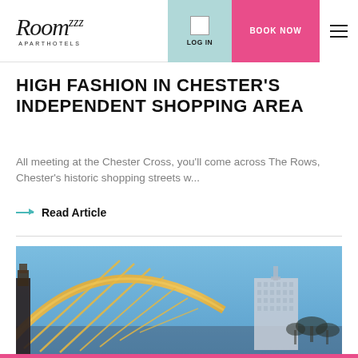Roomzzz Aparthotels — LOG IN | BOOK NOW
HIGH FASHION IN CHESTER'S INDEPENDENT SHOPPING AREA
All meeting at the Chester Cross, you'll come across The Rows, Chester's historic shopping streets w...
→ Read Article
[Figure (photo): Exterior photo showing golden ferris wheel architecture and a modern high-rise building against a blue sky with bare trees]